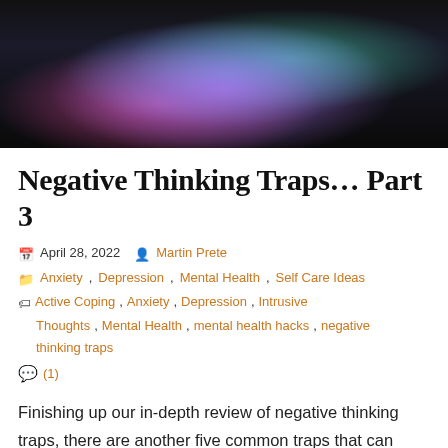[Figure (photo): Colorful abstract image with metallic-looking crumpled foil or crystal shape with pink, teal, green, purple, and blue colors against a black background. Top portion of the image is visible.]
Negative Thinking Traps… Part 3
April 28, 2022  Martin Prete
Anxiety, Depression, Mental Health, Self Care Ideas
Active Coping, Anxiety, Depression, Intrusive Thoughts, Mental Health, mental health hacks, negative thinking traps
(1)
Finishing up our in-depth review of negative thinking traps, there are another five common traps that can hijack us into negative feedback loops if we are not prepared. Taking us to places that are unproductive and skewing the truth when in reality, the situation may be easily resolvable. Rounding up the last of the prominent